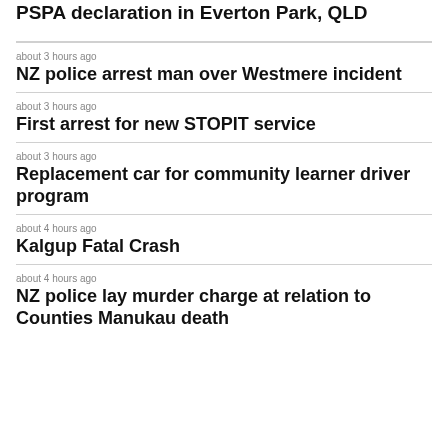PSPA declaration in Everton Park, QLD
about 3 hours ago
NZ police arrest man over Westmere incident
about 3 hours ago
First arrest for new STOPIT service
about 3 hours ago
Replacement car for community learner driver program
about 4 hours ago
Kalgup Fatal Crash
about 4 hours ago
NZ police lay murder charge at relation to Counties Manukau death